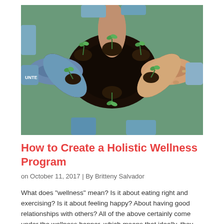[Figure (photo): Group of diverse people in blue volunteer shirts forming a circle, each holding small green seedlings cupped in soil in their hands, viewed from above.]
How to Create a Holistic Wellness Program
on October 11, 2017 | By Britteny Salvador
What does "wellness" mean? Is it about eating right and exercising? Is it about feeling happy? About having good relationships with others? All of the above certainly come under the wellness banner, which means that ideally, they